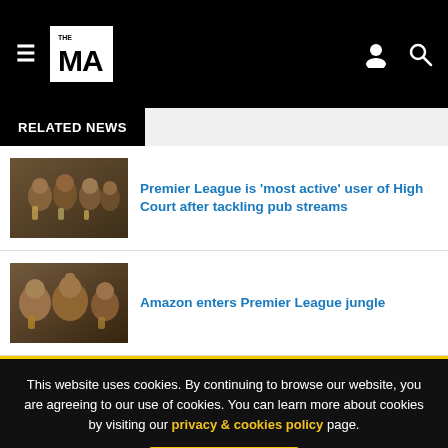THE MA — navigation header with hamburger menu, logo, user icon, search icon
RELATED NEWS
[Figure (photo): Group of people in a pub watching sports, raising drinks]
Premier League is 'most active' user of High Court after tackling pub streams
[Figure (photo): Excited fans celebrating at a bar, one raising fist]
Amazon enters Premier League jungle
This website uses cookies. By continuing to browse our website, you are agreeing to our use of cookies. You can learn more about cookies by visiting our privacy & cookies policy page.
I Agree